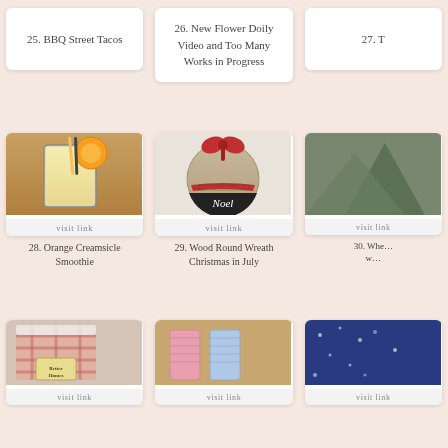25. BBQ Street Tacos
26. New Flower Doily Video and Too Many Works in Progress
27. T…
[Figure (photo): Orange Creamsicle Smoothie in a tall glass with orange slice garnish and striped straw]
visit link
28. Orange Creamsicle Smoothie
[Figure (photo): Wood round wreath with burlap top, red bow, holly ribbon trim, and chalkboard bottom reading 'Noel']
visit link
29. Wood Round Wreath Christmas in July
[Figure (photo): Partial view of item 30, partially cropped]
30. Whe… w…
[Figure (photo): Checked/plaid fabric shorts with Better Homes label]
[Figure (photo): Pink and blue yarn/knitted swatches on wooden surface]
[Figure (photo): Partial blue image, cropped on right]